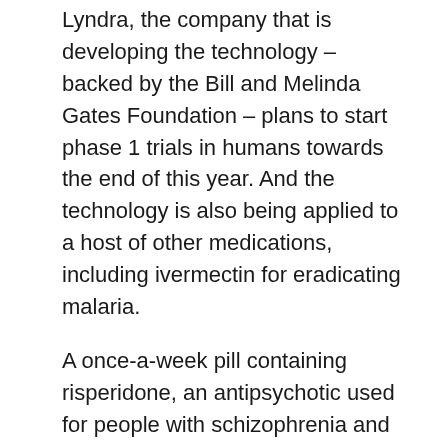Lyndra, the company that is developing the technology – backed by the Bill and Melinda Gates Foundation – plans to start phase 1 trials in humans towards the end of this year. And the technology is also being applied to a host of other medications, including ivermectin for eradicating malaria.
A once-a-week pill containing risperidone, an antipsychotic used for people with schizophrenia and bipolar disorder, is to go into clinical trials this year, the company said, and is expected to be submitted for approval by the U.S. Food and Drug Administration ( FDA) by the end of next year, with approval hoped for by the end of 2024.
Graphic
Trish Hurter, the chief executive of Lyndra, said reducing